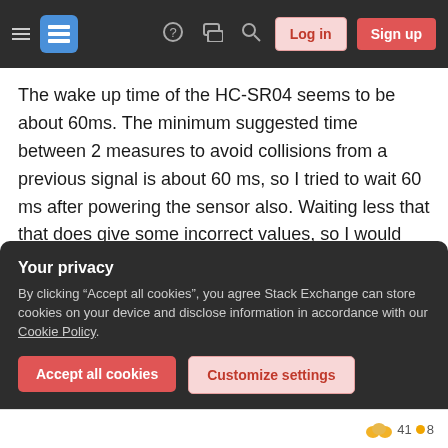Stack Exchange navigation bar with hamburger menu, logo, help, chat, search icons, and Log in / Sign up buttons
The wake up time of the HC-SR04 seems to be about 60ms. The minimum suggested time between 2 measures to avoid collisions from a previous signal is about 60 ms, so I tried to wait 60 ms after powering the sensor also. Waiting less that that does give some incorrect values, so I would recommend keeping a delay of 60 ms or more every time you power the sensor back up, as well as between every measure.
I guess the solution is simply that the HC-SR04
Your privacy
By clicking “Accept all cookies”, you agree Stack Exchange can store cookies on your device and disclose information in accordance with our Cookie Policy.
Accept all cookies
Customize settings
41 ● 8